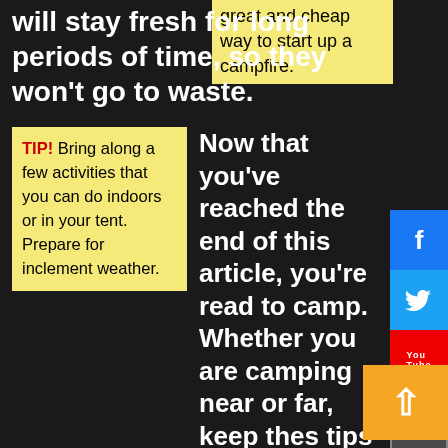will stay fresh for long periods of time, so they won't go to waste.
great and cheap way to start up a campfire.
TIP! Bring along a few activities that you can do indoors or in your tent. Prepare for inclement weather.
Now that you've reached the end of this article, you're read to camp. Whether you are camping near or far, keep thes tips in mind for your next trip. Camping is something that you'll be able to enjoy quite a bit after reading this
People don't know how to find information about gopro-accessories online. Fortunately for you, this article has given you the information that you need to get started doing just that. Now put what you have read in this article to use.